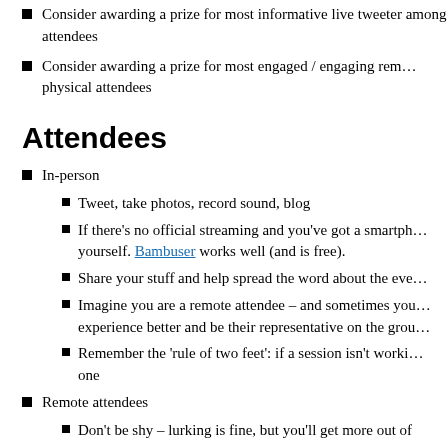Consider awarding a prize for most informative live tweeter among attendees
Consider awarding a prize for most engaged / engaging remote physical attendees
Attendees
In-person
Tweet, take photos, record sound, blog
If there's no official streaming and you've got a smartphone, stream it yourself. Bambuser works well (and is free).
Share your stuff and help spread the word about the event
Imagine you are a remote attendee – and sometimes you can make their experience better and be their representative on the ground
Remember the 'rule of two feet': if a session isn't working for you, find one
Remote attendees
Don't be shy – lurking is fine, but you'll get more out of
If you can't find what you're looking for, you can